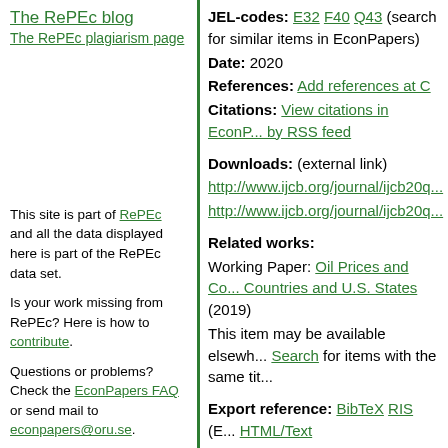The RePEc blog
The RePEc plagiarism page
JEL-codes: E32 F40 Q43 (search for similar items in EconPapers)
Date: 2020
References: Add references at C
Citations: View citations in EconP... by RSS feed
Downloads: (external link)
http://www.ijcb.org/journal/ijcb20q...
http://www.ijcb.org/journal/ijcb20q...
Related works:
Working Paper: Oil Prices and Co... Countries and U.S. States (2019)
This item may be available elsew... Search for items with the same tit...
Export reference: BibTeX RIS (E... HTML/Text
Persistent link:
https://EconPapers.repec.org/ReP...
Access Statistics for this article
International Journal of Central Ba... by Loretta J. Mester
More articles in International Jour...
This site is part of RePEc and all the data displayed here is part of the RePEc data set.
Is your work missing from RePEc? Here is how to contribute.
Questions or problems? Check the EconPapers FAQ or send mail to econpapers@oru.se.